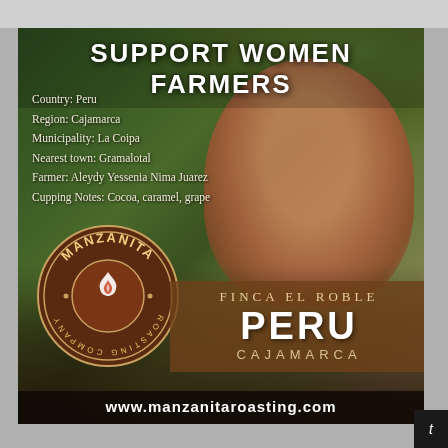[Figure (photo): Advertisement for Manzanita Roasting Company featuring a Peruvian woman farmer smiling against a green foliage background. Contains logo, product info, and website URL.]
SUPPORT WOMEN FARMERS
Country: Peru
Region: Cajamarca
Municipality: La Coipa
Nearest town: Gramalotal
Farmer: Aleydy Yessenia Nima Juarez
Cupping Notes: Cocoa, caramel, grape
FINCA EL ROBLE
PERU
CAJAMARCA
www.manzanitaroasting.com